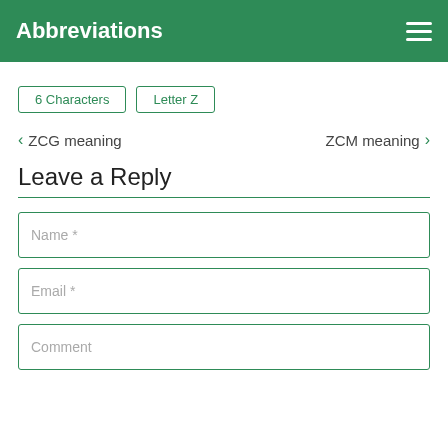Abbreviations
6 Characters
Letter Z
< ZCG meaning
ZCM meaning >
Leave a Reply
Name *
Email *
Comment